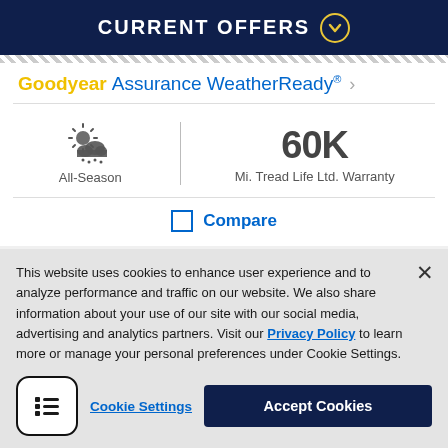CURRENT OFFERS
Goodyear Assurance WeatherReady®
All-Season
60K Mi. Tread Life Ltd. Warranty
Compare
This website uses cookies to enhance user experience and to analyze performance and traffic on our website. We also share information about your use of our site with our social media, advertising and analytics partners. Visit our Privacy Policy to learn more or manage your personal preferences under Cookie Settings.
Cookie Settings
Accept Cookies